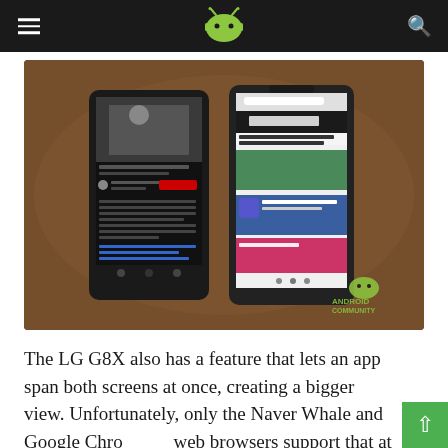Android Community (logo with hamburger menu and search icon)
[Figure (photo): Two LG G8X smartphones side by side on a wooden table. The left phone shows a YouTube video page (2022 Bentley Flying Spur first drive review). The right phone shows a browser with SlashGear website open. The phones are in a dual-screen case. Android Community watermark visible at bottom right.]
The LG G8X also has a feature that lets an app span both screens at once, creating a bigger view. Unfortunately, only the Naver Whale and Google Chrome web browsers support that at the moment, which is on